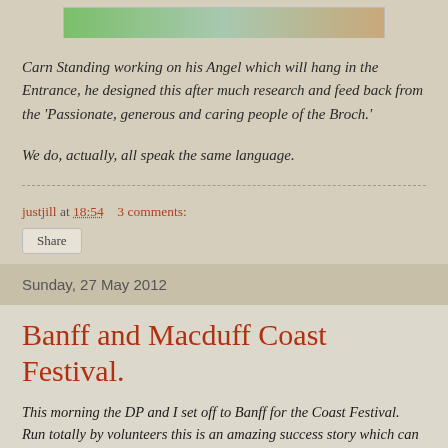[Figure (photo): Partial view of a photo at top of page showing colorful/outdoor scene]
Carn Standing working on his Angel which will hang in the Entrance, he designed this after much research and feed back from the 'Passionate, generous and caring people of the Broch.'
We do, actually, all speak the same language.
justjill at 18:54   3 comments:
Share
Sunday, 27 May 2012
Banff and Macduff Coast Festival.
This morning the DP and I set off to Banff for the Coast Festival.  Run totally by volunteers this is an amazing success story which can only get better in that more people will visit this North East